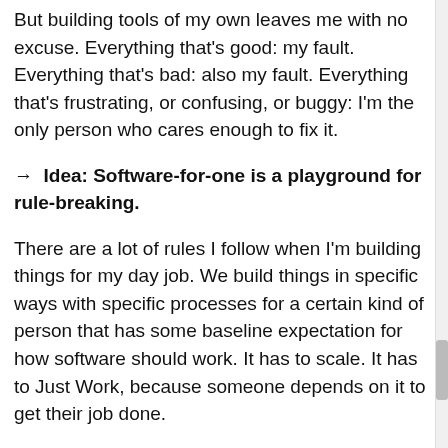But building tools of my own leaves me with no excuse. Everything that's good: my fault. Everything that's bad: also my fault. Everything that's frustrating, or confusing, or buggy: I'm the only person who cares enough to fix it.
→ Idea: Software-for-one is a playground for rule-breaking.
There are a lot of rules I follow when I'm building things for my day job. We build things in specific ways with specific processes for a certain kind of person that has some baseline expectation for how software should work. It has to scale. It has to Just Work, because someone depends on it to get their job done.
Then suddenly, I'm building something just for myself and…it doesn't have to scale. It doesn't have to work on that kind of device. It doesn't have to account for this kind of user input. Nobody's livelihood depends on it.